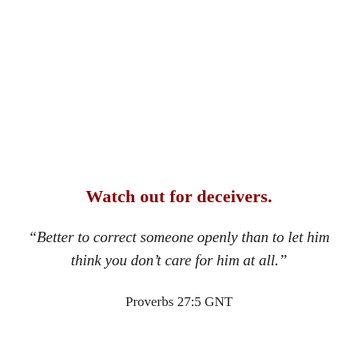Watch out for deceivers.
“Better to correct someone openly than to let him think you don’t care for him at all.”
Proverbs 27:5 GNT